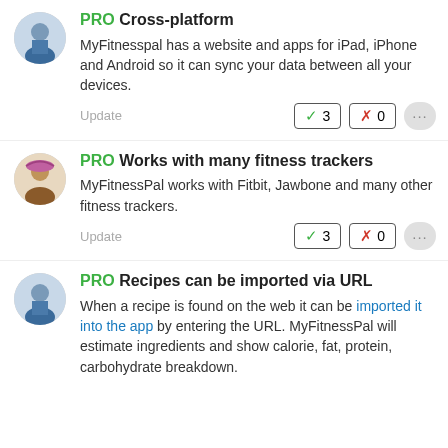PRO Cross-platform
MyFitnesspal has a website and apps for iPad, iPhone and Android so it can sync your data between all your devices.
Update ✓3 ✗0
PRO Works with many fitness trackers
MyFitnessPal works with Fitbit, Jawbone and many other fitness trackers.
Update ✓3 ✗0
PRO Recipes can be imported via URL
When a recipe is found on the web it can be imported it into the app by entering the URL. MyFitnessPal will estimate ingredients and show calorie, fat, protein, carbohydrate breakdown.